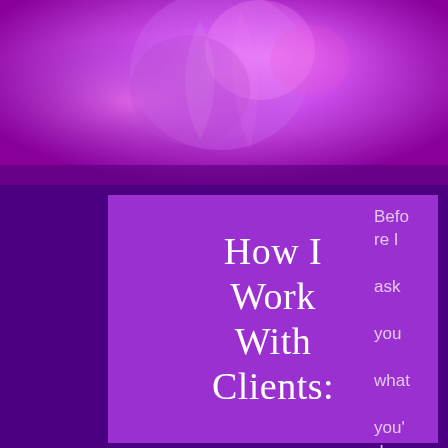[Figure (photo): Purple-toned abstract photo background at top of page, showing blurred floral or organic shapes in violet and magenta hues]
How I Work With Clients:
Before I ask you what you'd